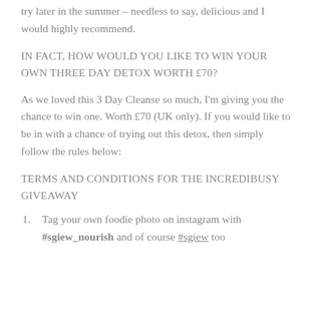try later in the summer – needless to say, delicious and I would highly recommend.
IN FACT, HOW WOULD YOU LIKE TO WIN YOUR OWN THREE DAY DETOX WORTH £70?
As we loved this 3 Day Cleanse so much, I'm giving you the chance to win one. Worth £70 (UK only). If you would like to be in with a chance of trying out this detox, then simply follow the rules below:
TERMS AND CONDITIONS FOR THE INCREDIBUSY GIVEAWAY
Tag your own foodie photo on instagram with #sgiew_nourish and of course #sgiew too